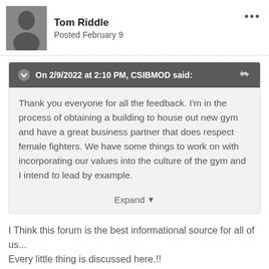Tom Riddle
Posted February 9
On 2/9/2022 at 2:10 PM, CSIBMOD said:
Thank you everyone for all the feedback. I'm in the process of obtaining a building to house out new gym and have a great business partner that does respect female fighters. We have some things to work on with incorporating our values into the culture of the gym and I intend to lead by example.
Expand
I Think this forum is the best informational source for all of us... Every little thing is discussed here.!!